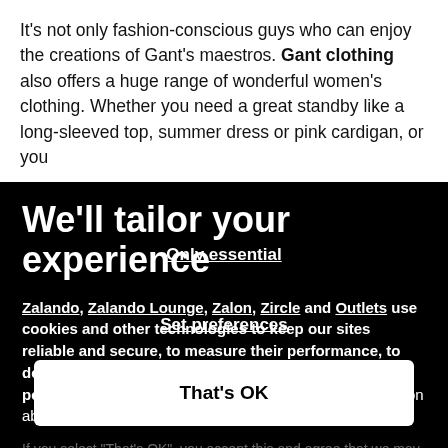It's not only fashion-conscious guys who can enjoy the creations of Gant's maestros. Gant clothing also offers a huge range of wonderful women's clothing. Whether you need a great standby like a long-sleeved top, summer dress or pink cardigan, or you
We'll tailor your experience
Zalando, Zalando Lounge, Zalon, Zircle and Outlets use cookies and other technologies to keep our sites reliable and secure, to measure their performance, to deliver a personalised shopping experience and personalised advertising. To do this, we collect information about users, their behaviour, and their devices.
If you select "That's OK", you accept this and agree that we may share this
Only essential
Set preferences
That's OK